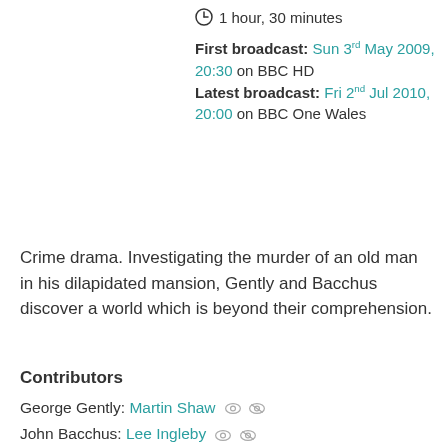1 hour, 30 minutes
First broadcast: Sun 3rd May 2009, 20:30 on BBC HD
Latest broadcast: Fri 2nd Jul 2010, 20:00 on BBC One Wales
Crime drama. Investigating the murder of an old man in his dilapidated mansion, Gently and Bacchus discover a world which is beyond their comprehension.
Contributors
George Gently: Martin Shaw
John Bacchus: Lee Ingleby
Cora Davidson: Jill Halfpenny
Harry Carson: Matthew McNulty
Blacksmith: Mark Stobbart